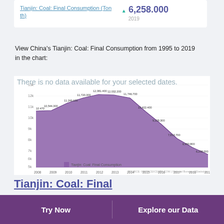Tianjin: Coal: Final Consumption (Ton th)
▲ 6,258.000
2019
View China's Tianjin: Coal: Final Consumption from 1995 to 2019 in the chart:
[Figure (area-chart): Tianjin: Coal: Final Consumption]
Tianjin: Coal: Final
Try Now | Explore our Data